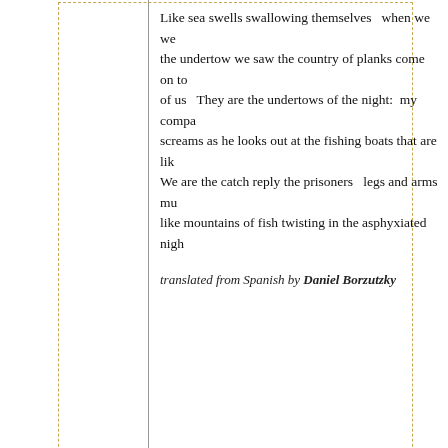Like sea swells swallowing themselves   when we we the undertow we saw the country of planks come on to of us   They are the undertows of the night:  my compa screams as he looks out at the fishing boats that are lik We are the catch reply the prisoners   legs and arms m like mountains of fish twisting in the asphyxiated nigh
translated from Spanish by Daniel Borzutzky
more>>
Read original in Spanish
Maipo Cargo Ship Prison
by Raúl Zurita
MAIPO CARGO SHIP PRISON
-Palisaded crests-
The bellowing of the immense Pacific resonated as if it wanted to cry...